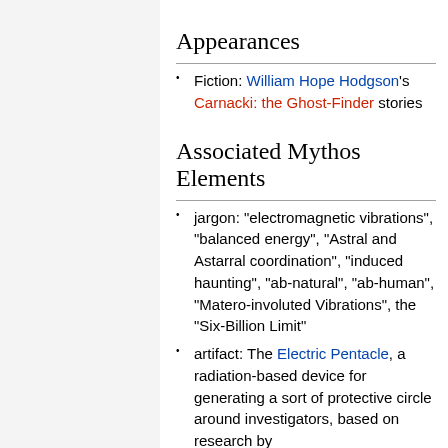Appearances
Fiction: William Hope Hodgson's Carnacki: the Ghost-Finder stories
Associated Mythos Elements
jargon: "electromagnetic vibrations", "balanced energy", "Astral and Astarral coordination", "induced haunting", "ab-natural", "ab-human", "Matero-involuted Vibrations", the "Six-Billion Limit"
artifact: The Electric Pentacle, a radiation-based device for generating a sort of protective circle around investigators, based on research by